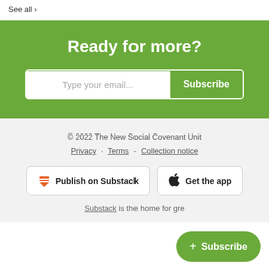See all ›
Ready for more?
Type your email... Subscribe
© 2022 The New Social Covenant Unit
Privacy · Terms · Collection notice
Publish on Substack
Get the app
Substack is the home for gre
+ Subscribe